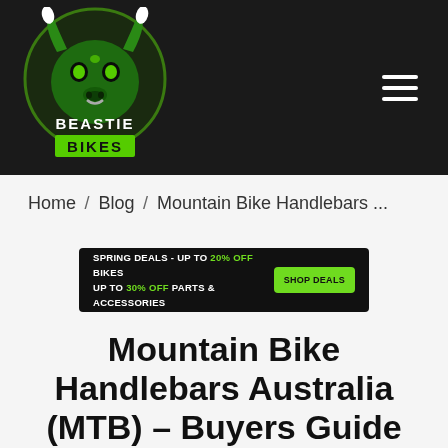[Figure (logo): Beastie Bikes logo — green bull/bison mascot face with horns inside a circle, with text BEASTIE BIKES below, on dark background]
Home / Blog / Mountain Bike Handlebars ...
[Figure (infographic): Promotional banner: SPRING DEALS - UP TO 20% OFF BIKES | UP TO 30% OFF PARTS & ACCESSORIES | SHOP DEALS button]
Mountain Bike Handlebars Australia (MTB) – Buyers Guide